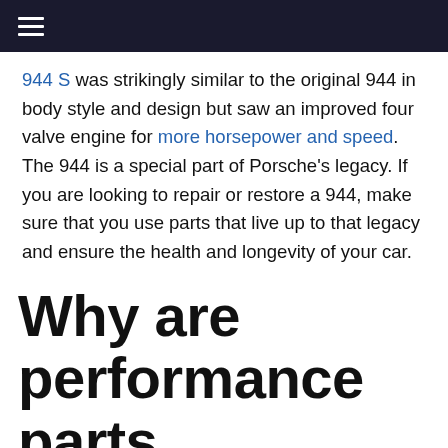☰
944 S was strikingly similar to the original 944 in body style and design but saw an improved four valve engine for more horsepower and speed. The 944 is a special part of Porsche's legacy. If you are looking to repair or restore a 944, make sure that you use parts that live up to that legacy and ensure the health and longevity of your car.
Why are performance parts important?